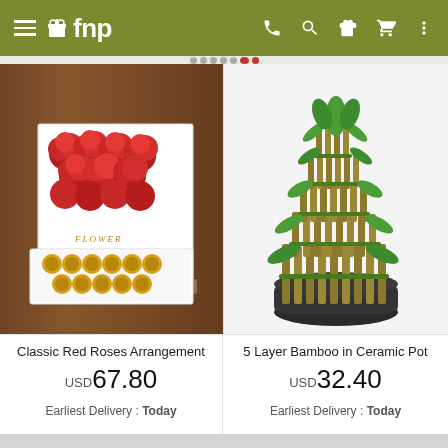[Figure (screenshot): FNP (Ferns N Petals) mobile app header with hamburger menu, logo, and navigation icons (phone, search, gift, cart, more) on olive green background]
[Figure (photo): Classic Red Roses Arrangement in a white square box with a drawer containing Ferrero Rocher chocolates, on a wooden table background]
[Figure (photo): 5 Layer Bamboo in Ceramic Pot - a tiered lucky bamboo plant in a dark ceramic bowl on white background]
Classic Red Roses Arrangement
USD 67.80
Earliest Delivery : Today
5 Layer Bamboo in Ceramic Pot
USD 32.40
Earliest Delivery : Today